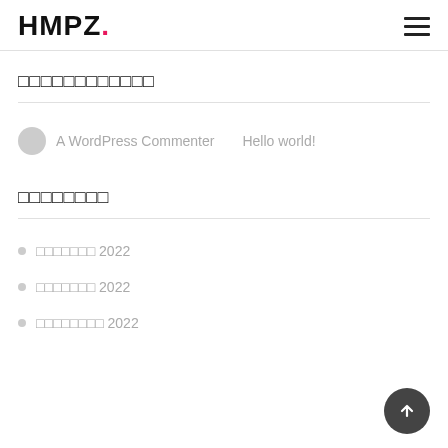HMPZ.
□□□□□□□□□□□□
A WordPress Commenter   Hello world!
□□□□□□□□
□□□□□□□ 2022
□□□□□□□ 2022
□□□□□□□□ 2022